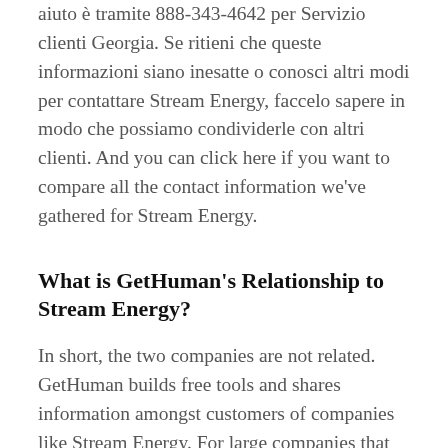aiuto è tramite 888-343-4642 per Servizio clienti Georgia. Se ritieni che queste informazioni siano inesatte o conosci altri modi per contattare Stream Energy, faccelo sapere in modo che possiamo condividerle con altri clienti. And you can click here if you want to compare all the contact information we've gathered for Stream Energy.
What is GetHuman's Relationship to Stream Energy?
In short, the two companies are not related. GetHuman builds free tools and shares information amongst customers of companies like Stream Energy. For large companies that includes tools such as our GetHuman Phone, which allows you to call a company but skip the part where you wait on the line listening